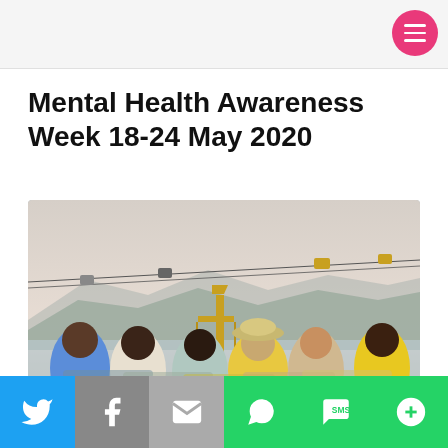Mental Health Awareness Week 18-24 May 2020
[Figure (photo): Group of five young people sitting side by side with arms around each other, viewed from behind, looking at cable cars over water with mountains and a cable car tower in the background.]
Social share bar: Twitter, Facebook, Email, WhatsApp, SMS, More